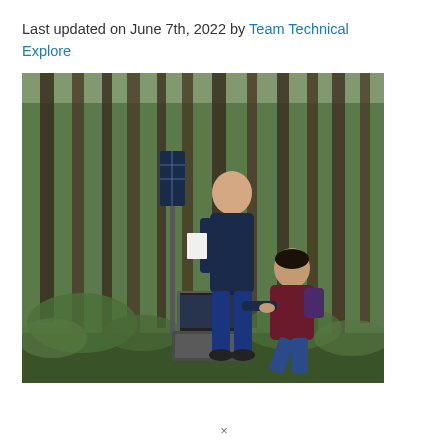Last updated on June 7th, 2022 by Team Technical Explore
[Figure (photo): Two researchers working in a forest setting. One man standing holds a clipboard or papers, while another man crouches down using a laptop on a hard-shell case. A solar panel is mounted on a pole behind them. Dense tall trees surround them.]